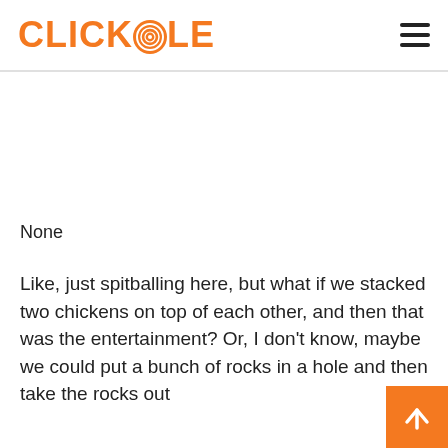CLICKHOLE
None
Like, just spitballing here, but what if we stacked two chickens on top of each other, and then that was the entertainment? Or, I don't know, maybe we could put a bunch of rocks in a hole and then take the rocks out